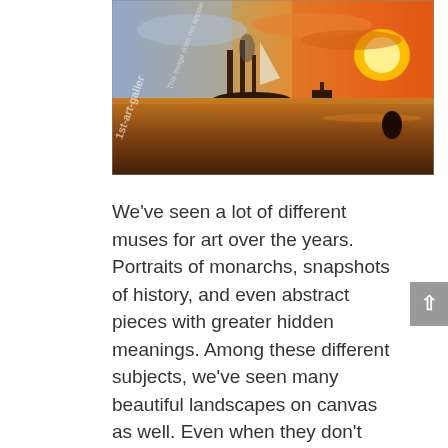[Figure (illustration): A painting depicting a dramatic maritime scene with warm orange and golden sunset tones reflecting on water, ships with masts visible, and a steamboat — resembling Turner's 'The Fighting Temeraire'. A watermark reading '1st-art-galler' and additional copyright text is overlaid diagonally on the left side of the image.]
We've seen a lot of different muses for art over the years. Portraits of monarchs, snapshots of history, and even abstract pieces with greater hidden meanings. Among these different subjects, we've seen many beautiful landscapes on canvas as well. Even when they don't have a human element in the painting, these are just as good at expressing feeling and emotion as someone staring straight out of the canvas at you.